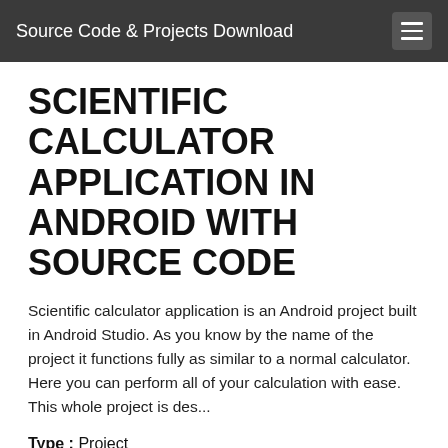Source Code & Projects Download
SCIENTIFIC CALCULATOR APPLICATION IN ANDROID WITH SOURCE CODE
Scientific calculator application is an Android project built in Android Studio. As you know by the name of the project it functions fully as similar to a normal calculator. Here you can perform all of your calculation with ease. This whole project is des...
Type : Project
File Size : 4.3 MB
Total Downloads : 2366